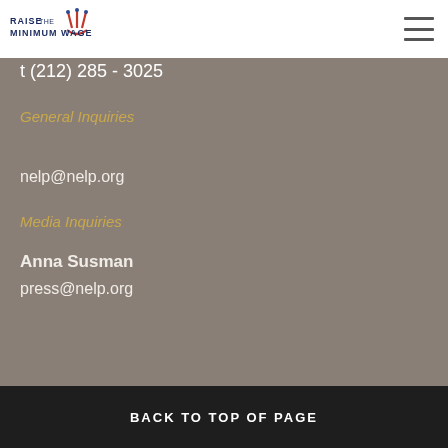[Figure (logo): Raise the Minimum Wage logo with red crown/fork icon and dark navy text]
t (212) 285 - 3025
General Inquiries
nelp@nelp.org
Media Inquiries
Anna Susman
press@nelp.org
BACK TO TOP OF PAGE